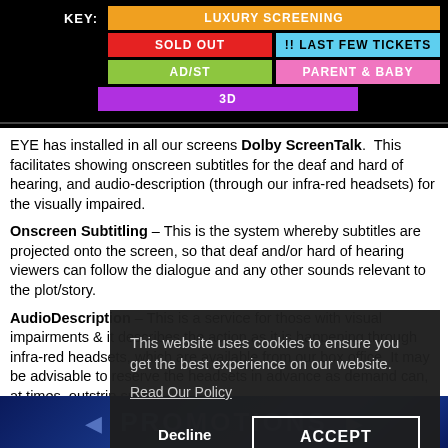| KEY: | LUXURY SCREENING |
| SOLD OUT | !! LAST FEW TICKETS |
| AD/ST | PARENT & BABY |
| 3D |  |
EYE has installed in all our screens Dolby ScreenTalk. This facilitates showing onscreen subtitles for the deaf and hard of hearing, and audio-description (through our infra-red headsets) for the visually impaired.
Onscreen Subtitling – This is the system whereby subtitles are projected onto the screen, so that deaf and/or hard of hearing viewers can follow the dialogue and any other sounds relevant to the plot/story.
AudioDescription – This is a service for those with visual impairments & it describes the action as it is happening through infra-red headsets, which are available from our box office. It may be advisable to reserve the headsets in advance as demand can, at times, outstrip supply.
This website uses cookies to ensure you get the best experience on our website.
Read Our Policy
Decline   ACCEPT
PROMOTIONS